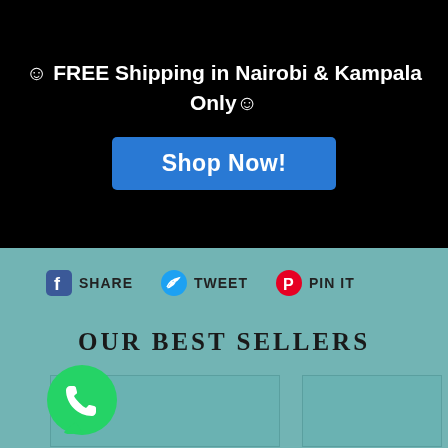☺ FREE Shipping in Nairobi & Kampala Only☺
Shop Now!
SHARE  TWEET  PIN IT
OUR BEST SELLERS
[Figure (other): Two product placeholder cards side by side on teal background]
[Figure (logo): WhatsApp green circular logo icon in bottom left corner]